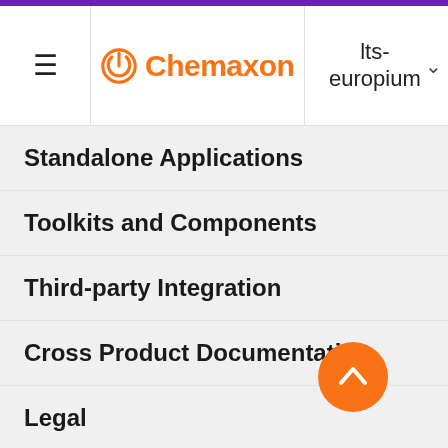Chemaxon — lts-europium navigation menu
Standalone Applications
Toolkits and Components
Third-party Integration
Cross Product Documentation
Legal
Discontinued Products